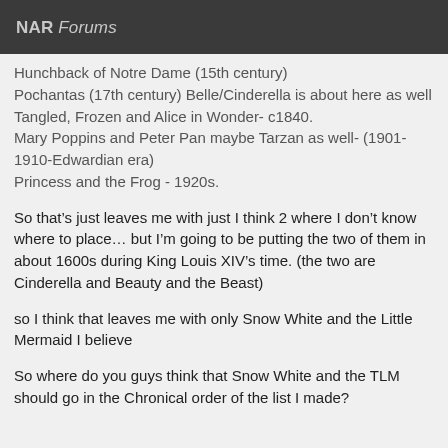NAR Forums
Hunchback of Notre Dame (15th century)
Pochantas (17th century) Belle/Cinderella is about here as well
Tangled, Frozen and Alice in Wonder- c1840.
Mary Poppins and Peter Pan maybe Tarzan as well- (1901-1910-Edwardian era)
Princess and the Frog - 1920s.
So that’s just leaves me with just I think 2 where I don’t know where to place… but I’m going to be putting the two of them in about 1600s during King Louis XIV’s time. (the two are Cinderella and Beauty and the Beast)
so I think that leaves me with only Snow White and the Little Mermaid I believe
So where do you guys think that Snow White and the TLM should go in the Chronical order of the list I made?